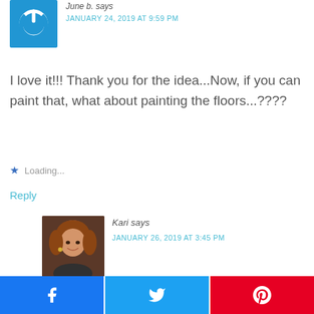[Figure (photo): Blue square avatar with white power button icon]
June b. says
JANUARY 24, 2019 AT 9:59 PM
I love it!!! Thank you for the idea...Now, if you can paint that, what about painting the floors...????
★ Loading...
Reply
[Figure (photo): Photo of Kari, a woman with reddish-brown hair, smiling]
Kari says
JANUARY 26, 2019 AT 3:45 PM
[Figure (logo): Facebook share button (blue)]
[Figure (logo): Twitter share button (blue)]
[Figure (logo): Pinterest share button (red)]